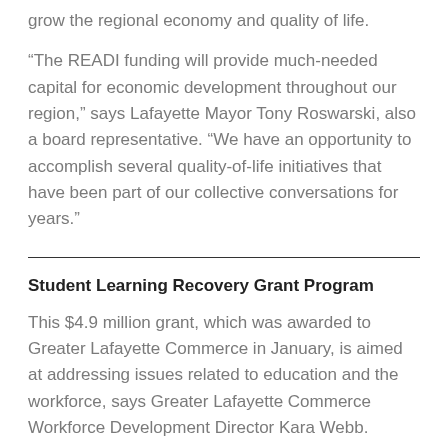grow the regional economy and quality of life.
“The READI funding will provide much-needed capital for economic development throughout our region,” says Lafayette Mayor Tony Roswarski, also a board representative. “We have an opportunity to accomplish several quality-of-life initiatives that have been part of our collective conversations for years.”
Student Learning Recovery Grant Program
This $4.9 million grant, which was awarded to Greater Lafayette Commerce in January, is aimed at addressing issues related to education and the workforce, says Greater Lafayette Commerce Workforce Development Director Kara Webb.
The federal and state stimulus money is designed to help